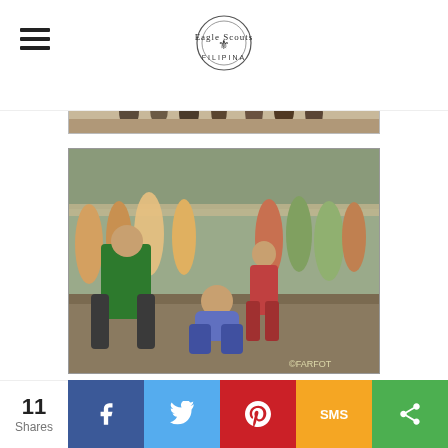[Figure (logo): Circular stamp/logo icon in the page header]
[Figure (photo): Partially visible top photo showing people at an outdoor event on muddy ground]
[Figure (photo): Photo showing a group of boys/men at an outdoor muddy event; one person in green shirt faces away, another crouches in the center, crowd watches in background]
Fundamentals of BSP Seminar
Basic Training Course for Crew Leaders
Leadership Workshop/Training
Orientation Camp Staff
11 Shares — social share bar with Facebook, Twitter, Pinterest, SMS, and more options